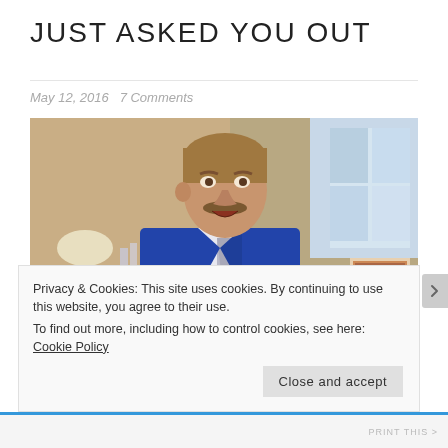JUST ASKED YOU OUT
May 12, 2016   7 Comments
[Figure (photo): A man in a blue suit with a striped tie, with a mustache, appearing to be speaking or surprised, in an indoor setting with lamps and bottles in the background.]
Privacy & Cookies: This site uses cookies. By continuing to use this website, you agree to their use.
To find out more, including how to control cookies, see here: Cookie Policy
Close and accept